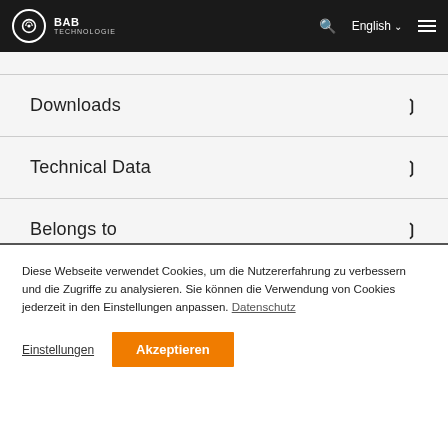BAB TECHNOLOGIE — navigation bar with logo, search, English language selector, hamburger menu
Downloads
Technical Data
Belongs to
Diese Webseite verwendet Cookies, um die Nutzererfahrung zu verbessern und die Zugriffe zu analysieren. Sie können die Verwendung von Cookies jederzeit in den Einstellungen anpassen. Datenschutz
Einstellungen   Akzeptieren